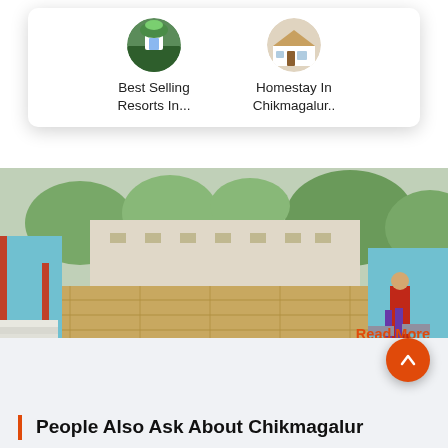[Figure (screenshot): Dropdown/popup card showing two circular thumbnail images with labels: 'Best Selling Resorts In...' and 'Homestay In Chikmagalur...' on a white card with rounded corners and shadow]
[Figure (photo): Hero photograph of a temple corridor/pathway in Kalasa, Chikmagalur. Stone-paved walkway flanked by blue-painted pillars/walls, with red-dressed pilgrims. Warm daylight.]
The town of Kalasa which lies on the banks of river Bhadra is fondly known as the temple town in Chikmagalur. It has derived its name from Sri Kalaseshwara temple which is dedicated to Lord Shiva and is a must visit in Kalasa and also one of the best Chikmagalur places...
Read More
People Also Ask About Chikmagalur